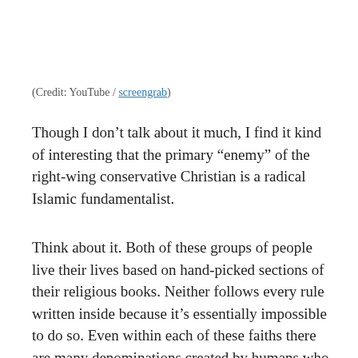(Credit: YouTube / screengrab)
Though I don’t talk about it much, I find it kind of interesting that the primary “enemy” of the right-wing conservative Christian is a radical Islamic fundamentalist.
Think about it. Both of these groups of people live their lives based on hand-picked sections of their religious books. Neither follows every rule written inside because it’s essentially impossible to do so. Even within each of these faiths there are many denominations created by humans who basically interpret parts of each of these books by how they feel they should be followed.